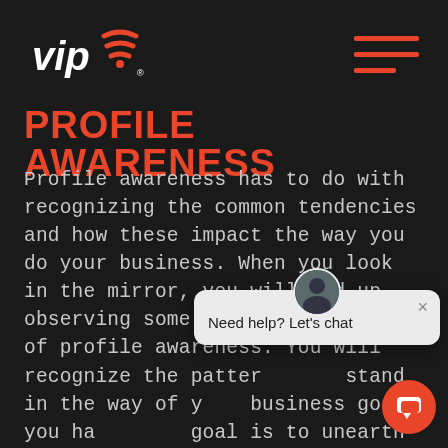[Figure (logo): VIP logo with wifi/signal icon in red and white on dark background]
[Figure (other): Hamburger menu icon with three red horizontal lines]
PROFILE AWARENESS
Profile awareness has to do with recognizing the common tendencies and how these impact the way you do your business. When you look in the mirror, you will end up observing some rudimentary level of profile awareness. You will recognize the patterns that stand in the way of your business goals you have. The goal is to unearth the common internal tendencies that drive the way you conduct business.
[Figure (screenshot): Chat popup with avatar, close button, and text 'Need help? Let's chat']
[Figure (other): Red circular chat button in bottom right corner]